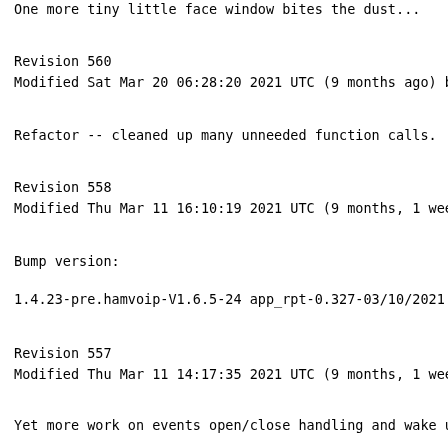One more tiny little face window bites the dust...
Revision 560
Modified Sat Mar 20 06:28:20 2021 UTC (9 months ago) by k
Refactor -- cleaned up many unneeded function calls.
Revision 558
Modified Thu Mar 11 16:10:19 2021 UTC (9 months, 1 week a
Bump version:
1.4.23-pre.hamvoip-V1.6.5-24 app_rpt-0.327-03/10/2021
Revision 557
Modified Thu Mar 11 14:17:35 2021 UTC (9 months, 1 week a
Yet more work on events open/close handling and wake up c
Revision 556
Modified Wed Mar 10 21:13:23 2021 UTC (9 months, 1 week a
Trying to fix the event stream file open/close issue!!
Revision 555
Modified Tue Mar 9 07:11:52 2021 UTC (9 months, 1 week a